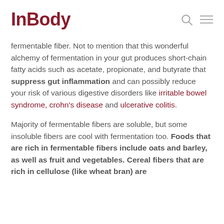InBody
fermentable fiber. Not to mention that this wonderful alchemy of fermentation in your gut produces short-chain fatty acids such as acetate, propionate, and butyrate that suppress gut inflammation and can possibly reduce your risk of various digestive disorders like irritable bowel syndrome, crohn's disease and ulcerative colitis.
Majority of fermentable fibers are soluble, but some insoluble fibers are cool with fermentation too. Foods that are rich in fermentable fibers include oats and barley, as well as fruit and vegetables. Cereal fibers that are rich in cellulose (like wheat bran) are